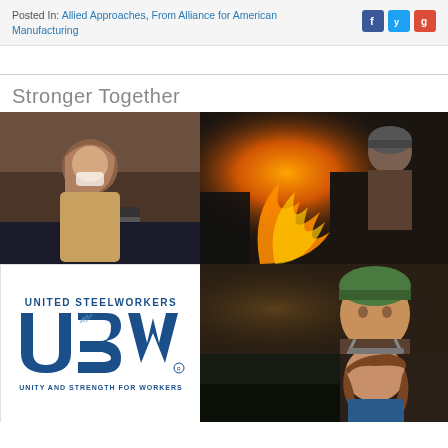Posted In: Allied Approaches, From Alliance for American Manufacturing
Stronger Together
[Figure (photo): Collage of manufacturing workers including a woman in hijab sewing, steelworkers near molten metal, and a woman worker, alongside the United Steelworkers (USW) logo with tagline UNITY AND STRENGTH FOR WORKERS]